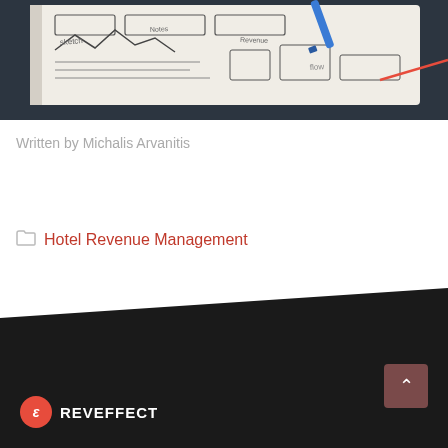[Figure (photo): Open notebook with handwritten sketches and diagrams, with a blue pen resting on top, placed on a dark surface]
Written by Michalis Arvanitis
Hotel Revenue Management
[Figure (logo): REVEFFECT logo with red circle containing stylized letter E and white text REVEFFECT on dark background]
REVEFFECT